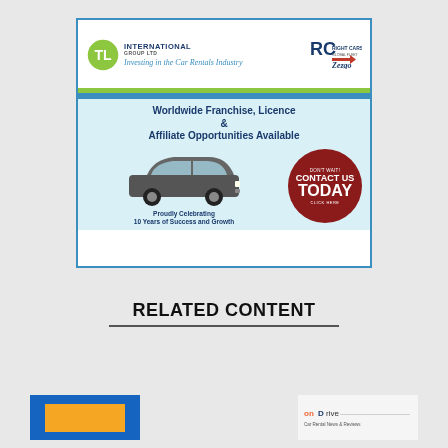[Figure (illustration): TL International Group Ltd advertisement banner featuring logo, Right Cars and Zezgo logos, car image, and call-to-action. Text: 'Investing in the Car Rentals Industry', 'Worldwide Franchise, Licence & Affiliate Opportunities Available', 'DON'T WAIT! CONTACT US TODAY CLICK HERE', 'Proudly Celebrating 10 Years of Success and Growth']
RELATED CONTENT
[Figure (illustration): Blue thumbnail image with yellow bar at bottom left]
[Figure (illustration): onDrive logo and text at bottom right]